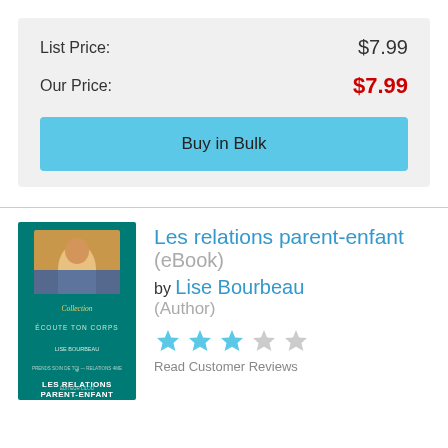List Price: $7.99
Our Price: $7.99
Buy in Bulk
[Figure (illustration): Book cover of 'Les relations parent-enfant' by Lise Bourbeau, teal/green background with author photo and title text]
Les relations parent-enfant (eBook)
by Lise Bourbeau (Author)
[Figure (other): 3 out of 5 stars rating shown with star icons — 3 filled blue stars and 2 gray stars]
Read Customer Reviews